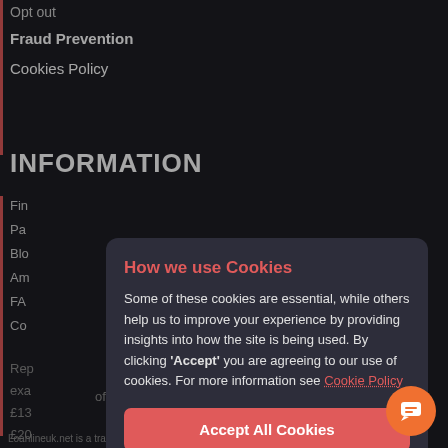Opt out
Fraud Prevention
Cookies Policy
INFORMATION
Fin
Pa
Blo
Am
FA
Co
Rep exa of £13 £20 % Ma circ
[Figure (screenshot): Cookie consent modal dialog with title 'How we use Cookies', body text about cookie usage, an Accept All Cookies button, and opt-out link]
Loanlineuk.net is a trading style of Maxed Up Media Ltd. Company